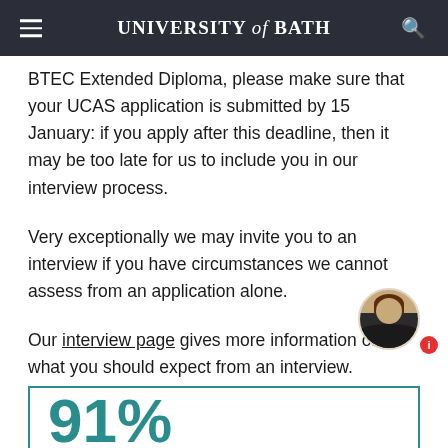UNIVERSITY of BATH
BTEC Extended Diploma, please make sure that your UCAS application is submitted by 15 January: if you apply after this deadline, then it may be too late for us to include you in our interview process.
Very exceptionally we may invite you to an interview if you have circumstances we cannot assess from an application alone.
Our interview page gives more information on what you should expect from an interview.
[Figure (other): Partial view of a teal-bordered box showing '91%' in large teal text, cropped at the bottom of the page]